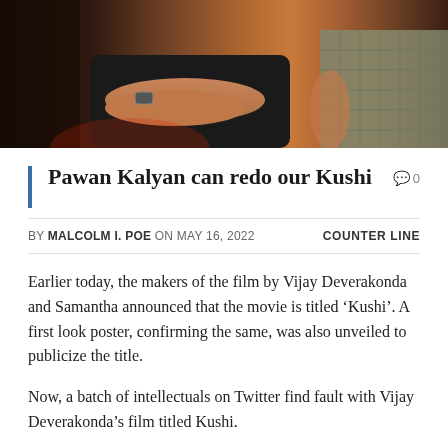[Figure (photo): Photo of two people, one in a black t-shirt with arms crossed and a watch, another person partially visible wearing a patterned shirt. Dark reddish background.]
Pawan Kalyan can redo our Kushi
BY MALCOLM I. POE ON MAY 16, 2022    COUNTER LINE
Earlier today, the makers of the film by Vijay Deverakonda and Samantha announced that the movie is titled 'Kushi'. A first look poster, confirming the same, was also unveiled to publicize the title.
Now, a batch of intellectuals on Twitter find fault with Vijay Deverakonda's film titled Kushi.
“Khushi is a Pawan Kalyan classic. The producer should have kept the classic title instead of letting someone else use it. Kushi